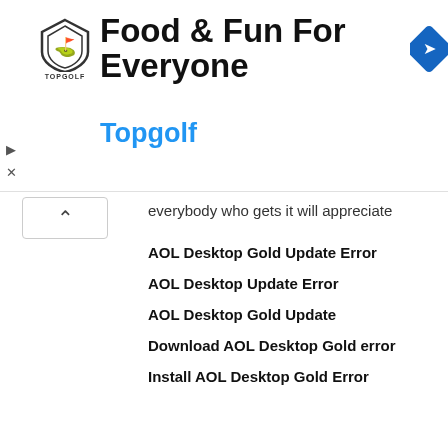[Figure (other): Topgolf advertisement banner with shield logo, headline 'Food & Fun For Everyone', subheading 'Topgolf', and blue direction arrow icon]
everybody who gets it will appreciate
AOL Desktop Gold Update Error
AOL Desktop Update Error
AOL Desktop Gold Update
Download AOL Desktop Gold error
Install AOL Desktop Gold Error
Reply
[Figure (photo): Profile photo of Megan Fox, a woman with dark hair]
Megan Fox
3 MAY 2021 AT 12:06
People should implement the step that will fix the problems related to the Cash app won't let me send money. The rising issues have led to